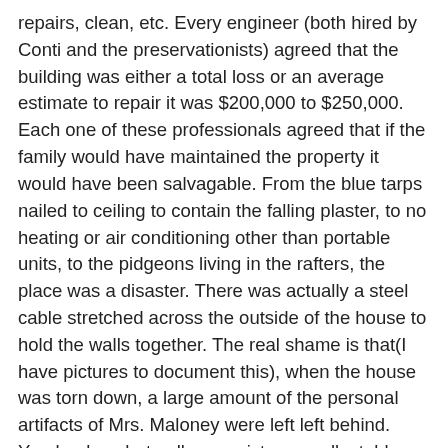repairs, clean, etc. Every engineer (both hired by Conti and the preservationists) agreed that the building was either a total loss or an average estimate to repair it was $200,000 to $250,000. Each one of these professionals agreed that if the family would have maintained the property it would have been salvagable. From the blue tarps nailed to ceiling to contain the falling plaster, to no heating or air conditioning other than portable units, to the pidgeons living in the rafters, the place was a disaster. There was actually a steel cable stretched across the outside of the house to hold the walls together. The real shame is that(I have pictures to document this), when the house was torn down, a large amount of the personal artifacts of Mrs. Maloney were left left behind. Yearbooks, photo albums, pictures, collectables that meant a lot to her but, maybe not valuable to a buyer from an auction house or flea market dealer that they brought in to pick through the memories. The Maloneys were granted full access by Mr. Conti, with their own keys to the house for around 2 years. No notification was needed. Michael Maloney did his best to